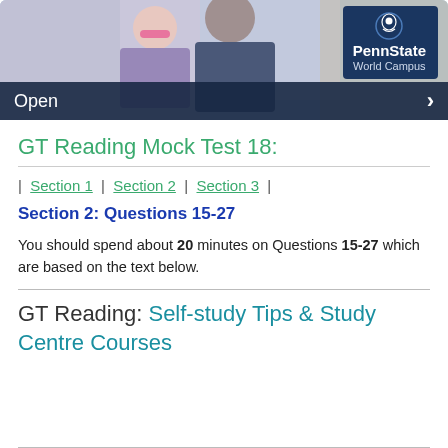[Figure (photo): Banner image showing children studying with a Penn State World Campus logo overlay and 'Open' button]
GT Reading Mock Test 18:
| Section 1 | Section 2 | Section 3 |
Section 2: Questions 15-27
You should spend about 20 minutes on Questions 15-27 which are based on the text below.
GT Reading: Self-study Tips & Study Centre Courses